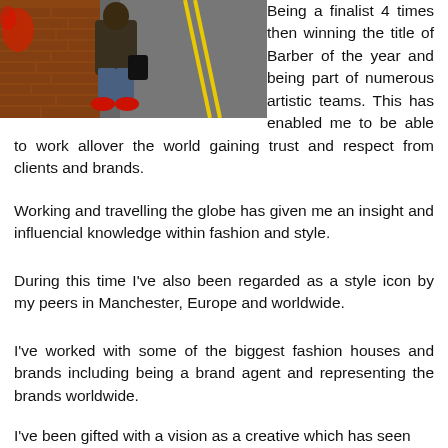[Figure (photo): Person in jeans, red shoes and dark jacket leaning against a brick wall, with a road with yellow lines visible in background]
Being a finalist 4 times then winning the title of Barber of the year and being part of numerous artistic teams. This has enabled me to be able to work allover the world gaining trust and respect from clients and brands.
Working and travelling the globe has given me an insight and influencial knowledge within fashion and style.
During this time I've also been regarded as a style icon by my peers in Manchester, Europe and worldwide.
I've worked with some of the biggest fashion houses and brands including being a brand agent and representing the brands worldwide.
I've been gifted with a vision as a creative which has seen